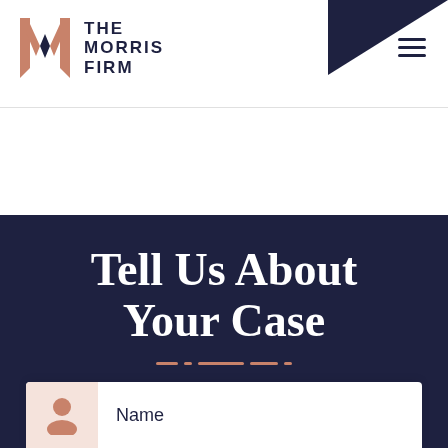[Figure (logo): The Morris Firm logo with geometric M mark in rose gold and dark navy wordmark]
Tell Us About Your Case
Name